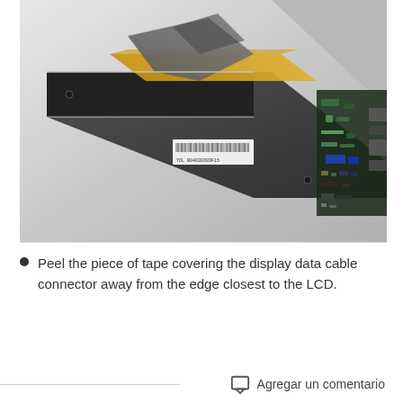[Figure (photo): Close-up photo of a laptop LCD panel edge being disassembled. A gray tape/cable is being peeled away from the display data cable connector near the LCD edge. Electronic components, a flex cable (orange/gold), and small circuit board components are visible along the display bezel.]
Peel the piece of tape covering the display data cable connector away from the edge closest to the LCD.
Agregar un comentario